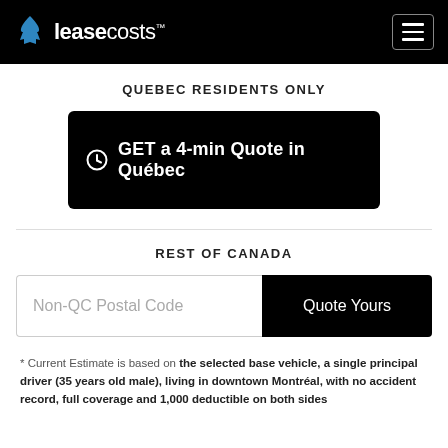leasecosts™
QUEBEC RESIDENTS ONLY
⊙ GET a 4-min Quote in Québec
REST OF CANADA
Non-QC Postal Code  |  Quote Yours
* Current Estimate is based on the selected base vehicle, a single principal driver (35 years old male), living in downtown Montréal, with no accident record, full coverage and 1,000 deductible on both sides